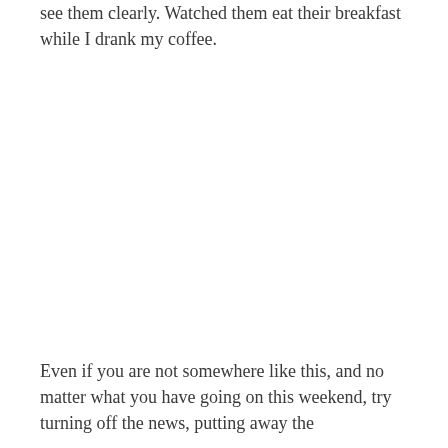see them clearly. Watched them eat their breakfast while I drank my coffee.
Even if you are not somewhere like this, and no matter what you have going on this weekend, try turning off the news, putting away the